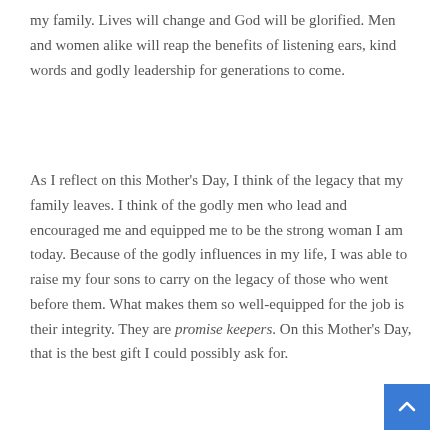my family. Lives will change and God will be glorified. Men and women alike will reap the benefits of listening ears, kind words and godly leadership for generations to come.
As I reflect on this Mother's Day, I think of the legacy that my family leaves. I think of the godly men who lead and encouraged me and equipped me to be the strong woman I am today. Because of the godly influences in my life, I was able to raise my four sons to carry on the legacy of those who went before them. What makes them so well-equipped for the job is their integrity. They are promise keepers. On this Mother's Day, that is the best gift I could possibly ask for.